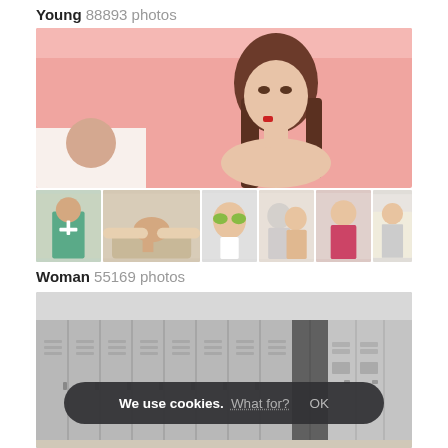Young 88893 photos
[Figure (photo): Stock photo gallery showing 'Young' category: main large image of young woman with finger on lips against pink background, with thumbnail row of related images below]
Woman 55169 photos
[Figure (photo): Stock photo gallery showing 'Woman' category: large image of grey metal lockers in a locker room, with cookie consent banner overlay reading 'We use cookies. What for? OK']